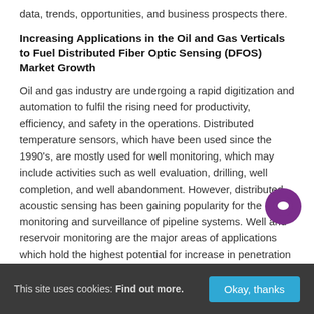data, trends, opportunities, and business prospects there.
Increasing Applications in the Oil and Gas Verticals to Fuel Distributed Fiber Optic Sensing (DFOS) Market Growth
Oil and gas industry are undergoing a rapid digitization and automation to fulfil the rising need for productivity, efficiency, and safety in the operations. Distributed temperature sensors, which have been used since the 1990's, are mostly used for well monitoring, which may include activities such as well evaluation, drilling, well completion, and well abandonment. However, distributed acoustic sensing has been gaining popularity for the monitoring and surveillance of pipeline systems. Well and reservoir monitoring are the major areas of applications which hold the highest potential for increase in penetration
This site uses cookies: Find out more.  Okay, thanks